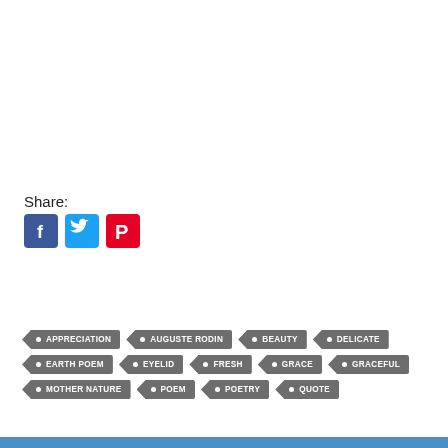Share:
[Figure (infographic): Social media share icons: Facebook (blue), Twitter (light blue), Pinterest (red)]
APPRECIATION
AUGUSTE RODIN
BEAUTY
DELICATE
EARTH POEM
EYELID
FRESH
GRACE
GRACEFUL
MOTHER NATURE
POEM
POETRY
QUOTE